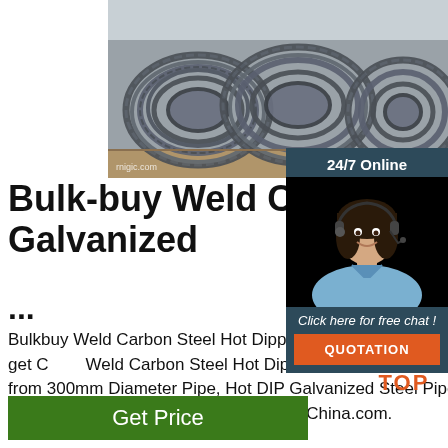[Figure (photo): Steel wire rod coils stacked outdoors, grey metallic coils viewed from front]
[Figure (photo): Customer service representative woman with headset, smiling, with 24/7 Online chat widget overlay including QUOTATION button]
Bulk-buy Weld Carbon Hot Dipped Galvanized ...
Bulkbuy Weld Carbon Steel Hot Dipped Galvanized Pipe price comparison, get China Weld Carbon Steel Hot Dipped Galvanized Pipe price comparison from 300mm Diameter Pipe, Hot DIP Galvanized Steel Pipe manufacturers & suppliers on Video Channel of Made-in-China.com.
[Figure (logo): TOP button with orange dots icon and TOP text in orange]
Get Price